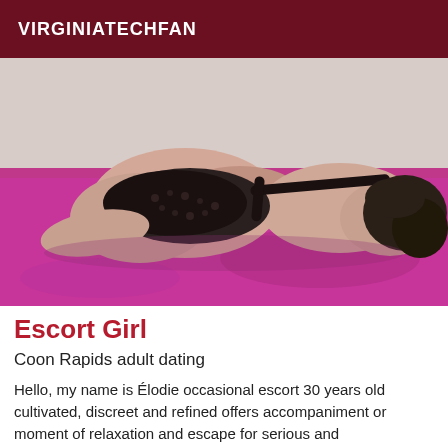VIRGINIATECHFAN
[Figure (photo): Woman lying face down on a pink/magenta bed wearing black lace lingerie, face not visible, photographed from behind.]
Escort Girl
Coon Rapids adult dating
Hello, my name is Élodie occasional escort 30 years old cultivated, discreet and refined offers accompaniment or moment of relaxation and escape for serious and